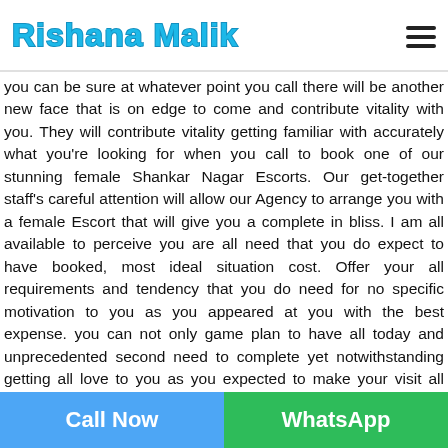Rishana Malik
you can be sure at whatever point you call there will be another new face that is on edge to come and contribute vitality with you. They will contribute vitality getting familiar with accurately what you're looking for when you call to book one of our stunning female Shankar Nagar Escorts. Our get-together staff's careful attention will allow our Agency to arrange you with a female Escort that will give you a complete in bliss. I am all available to perceive you are all need that you do expect to have booked, most ideal situation cost. Offer your all requirements and tendency that you do need for no specific motivation to you as you appeared at you with the best expense. you can not only game plan to have all today and unprecedented second need to complete yet notwithstanding getting all love to you as you expected to make your visit all recorded as best visit in your life while getting the all sizzling hot
Call Now   WhatsApp